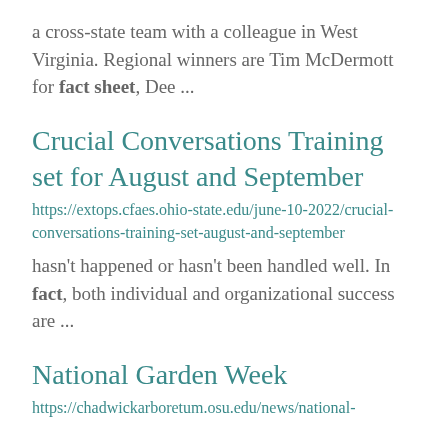a cross-state team with a colleague in West Virginia. Regional winners are Tim McDermott for fact sheet, Dee ...
Crucial Conversations Training set for August and September
https://extops.cfaes.ohio-state.edu/june-10-2022/crucial-conversations-training-set-august-and-september
hasn't happened or hasn't been handled well. In fact, both individual and organizational success are ...
National Garden Week
https://chadwickarboretum.osu.edu/news/national-